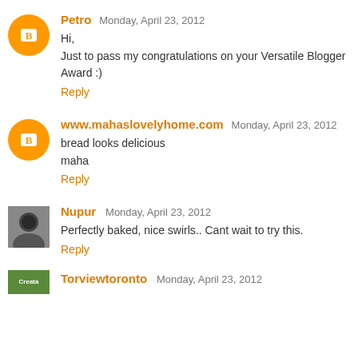Petro  Monday, April 23, 2012
Hi,
Just to pass my congratulations on your Versatile Blogger Award :)
Reply
www.mahaslovelyhome.com  Monday, April 23, 2012
bread looks delicious
maha
Reply
Nupur  Monday, April 23, 2012
Perfectly baked, nice swirls.. Cant wait to try this.
Reply
Torviewtoronto  Monday, April 23, 2012